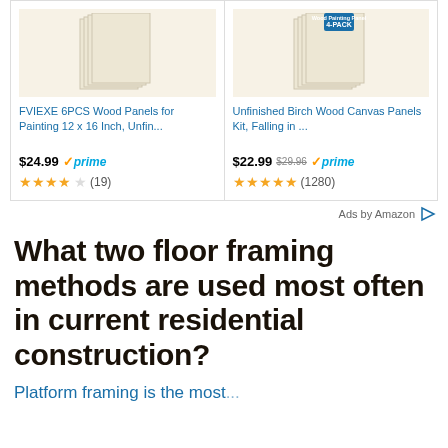[Figure (screenshot): Amazon ad card for FVIEXE 6PCS Wood Panels for Painting 12 x 16 Inch, Unfin... priced at $24.99 with Prime badge, 3.5 star rating with 19 reviews]
[Figure (screenshot): Amazon ad card for Unfinished Birch Wood Canvas Panels Kit, Falling in ... priced at $22.99 (originally $29.96) with Prime badge, 4.5 star rating with 1280 reviews]
Ads by Amazon
What two floor framing methods are used most often in current residential construction?
Platform framing is the most...